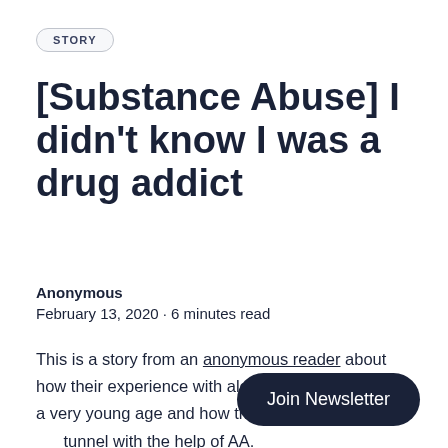STORY
[Substance Abuse] I didn't know I was a drug addict
Anonymous
February 13, 2020 · 6 minutes read
This is a story from an anonymous reader about how their experience with alcohol and drugs since a very young age and how they have come through the tunnel with the help of AA.